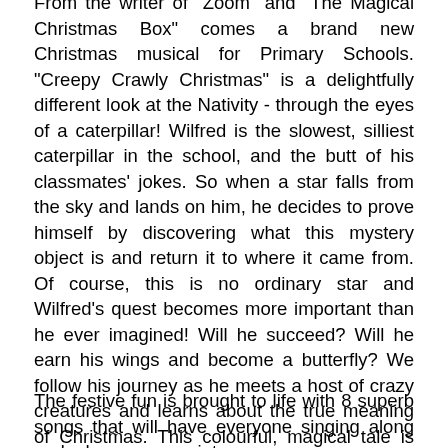From the writer of "Zoom" and "The Magical Christmas Box" comes a brand new Christmas musical for Primary Schools. "Creepy Crawly Christmas" is a delightfully different look at the Nativity - through the eyes of a caterpillar! Wilfred is the slowest, silliest caterpillar in the school, and the butt of his classmates' jokes. So when a star falls from the sky and lands on him, he decides to prove himself by discovering what this mystery object is and return it to where it came from. Of course, this is no ordinary star and Wilfred's quest becomes more important than he ever imagined! Will he succeed? Will he earn his wings and become a butterfly? We follow his journey as he meets a host of crazy creatures and learns about the true meaning of Christmas. This colourful, magical tale is bursting with bugs, including dotty old ladybirds, an army of ants, a squadron of RAF dragonflies, a hairy scary spider and four rather familiar Liverpudlian beetles!
The festive fun is brought to life with 8 superb songs that will have everyone singing along and a humorous script